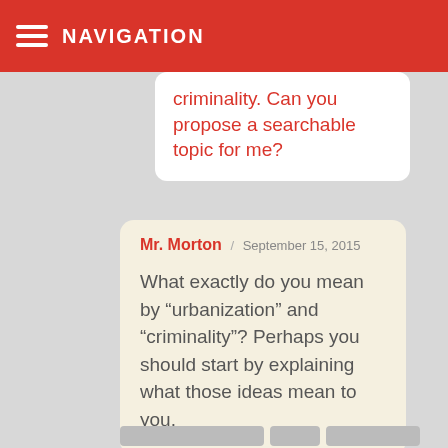NAVIGATION
on urbanization and criminality. Can you propose a searchable topic for me?
Mr. Morton / September 15, 2015

What exactly do you mean by “urbanization” and “criminality”? Perhaps you should start by explaining what those ideas mean to you.